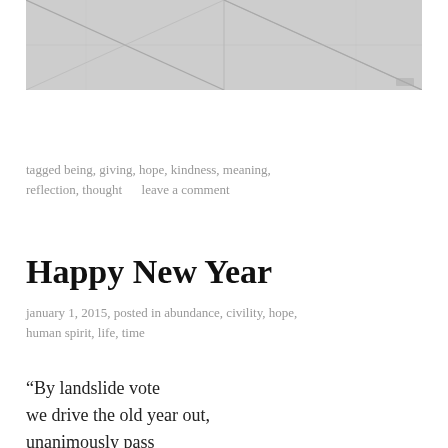[Figure (photo): Grayscale photo of a tiled or concrete floor surface with diagonal lines/grout lines visible]
tagged being, giving, hope, kindness, meaning, reflection, thought       leave a comment
Happy New Year
january 1, 2015, posted in abundance, civility, hope, human spirit, life, time
“By landslide vote
we drive the old year out,
unanimously pass